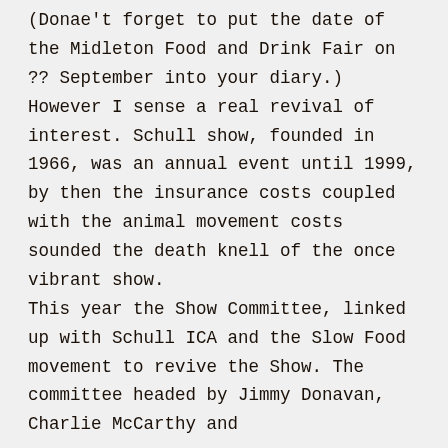(Donae't forget to put the date of the Midleton Food and Drink Fair on ?? September into your diary.) However I sense a real revival of interest. Schull show, founded in 1966, was an annual event until 1999, by then the insurance costs coupled with the animal movement costs sounded the death knell of the once vibrant show. This year the Show Committee, linked up with Schull ICA and the Slow Food movement to revive the Show. The committee headed by Jimmy Donavan, Charlie McCarthy and